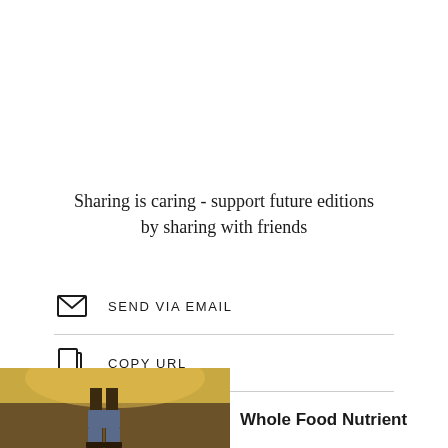Sharing is caring - support future editions by sharing with friends
[Figure (other): Email icon (envelope) with label SEND VIA EMAIL, followed by a horizontal divider, then a copy icon with label COPY URL, followed by a horizontal divider]
[Figure (photo): Partial photo at bottom-left showing a person outdoors in a field at golden hour]
Whole Food Nutrient